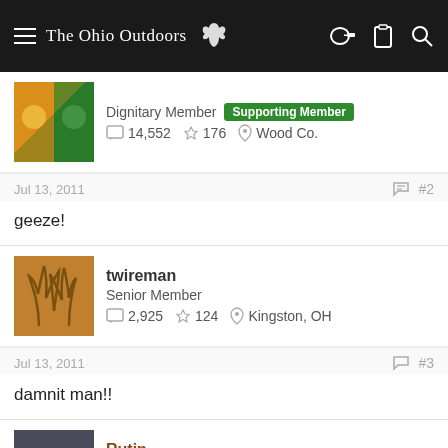The Ohio Outdoors
Dignitary Member | Supporting Member | 14,552 posts | 176 trophies | Wood Co.
Jul 13, 2011  #2
geeze!
twireman | Senior Member | 2,925 posts | 124 trophies | Kingston, OH
Jul 13, 2011  #3
damnit man!!
Rutin | Senior Member | 2,029 posts | 0 trophies | Ina Duck Blind